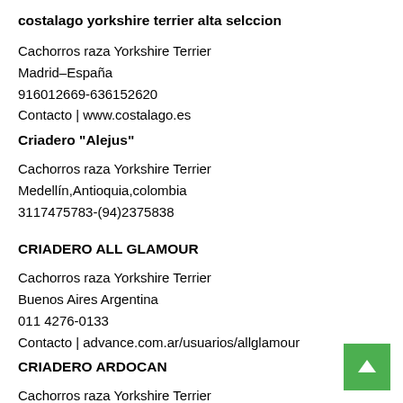costalago yorkshire terrier alta selccion
Cachorros raza Yorkshire Terrier
Madrid–España
916012669-636152620
Contacto | www.costalago.es
Criadero "Alejus"
Cachorros raza Yorkshire Terrier
Medellín,Antioquia,colombia
3117475783-(94)2375838
CRIADERO ALL GLAMOUR
Cachorros raza Yorkshire Terrier
Buenos Aires Argentina
011 4276-0133
Contacto | advance.com.ar/usuarios/allglamour
CRIADERO ARDOCAN
Cachorros raza Yorkshire Terrier